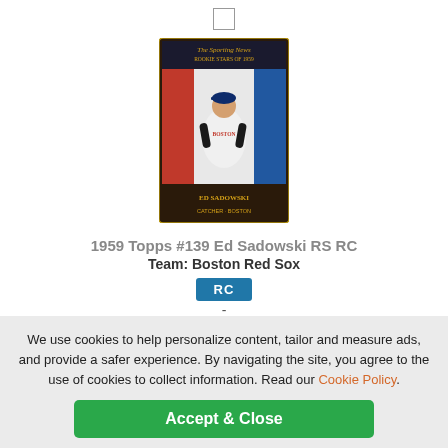[Figure (photo): 1959 Topps baseball card showing Ed Sadowski (Ko Sadowski) in Boston Red Sox uniform, with The Sporting News Rookie Stars of 1959 design featuring red, white, and blue vertical stripes]
1959 Topps #139 Ed Sadowski RS RC
Team: Boston Red Sox
RC
-
EX-MT
1
$9.60
ADD TO CART
We use cookies to help personalize content, tailor and measure ads, and provide a safer experience. By navigating the site, you agree to the use of cookies to collect information. Read our Cookie Policy.
Accept & Close